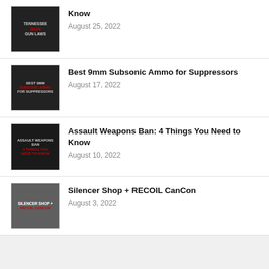Tennessee Gun Laws: What You Need to Know — August 25, 2022
Best 9mm Subsonic Ammo for Suppressors — August 17, 2022
Assault Weapons Ban: 4 Things You Need to Know — August 10, 2022
Silencer Shop + RECOIL CanCon — August 3, 2022
[Figure (other): Social media icons row: YouTube, Twitter, Facebook, Instagram, Android, Apple, Yelp]